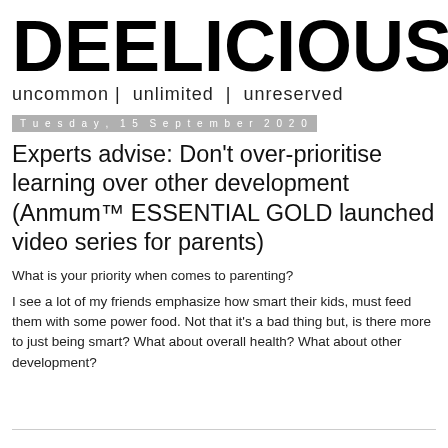DEELICIOUS
uncommon |  unlimited  |  unreserved
Tuesday, 15 September 2020
Experts advise: Don’t over-prioritise learning over other development (Anmum™ ESSENTIAL GOLD launched video series for parents)
What is your priority when comes to parenting?
I see a lot of my friends emphasize how smart their kids, must feed them with some power food. Not that it's a bad thing but, is there more to just being smart? What about overall health? What about other development?